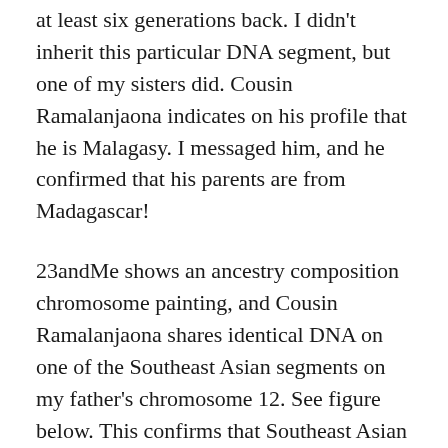at least six generations back. I didn't inherit this particular DNA segment, but one of my sisters did. Cousin Ramalanjaona indicates on his profile that he is Malagasy. I messaged him, and he confirmed that his parents are from Madagascar!
23andMe shows an ancestry composition chromosome painting, and Cousin Ramalanjaona shares identical DNA on one of the Southeast Asian segments on my father's chromosome 12. See figure below. This confirms that Southeast Asian ancestry is a great indicator of Malagasy ancestry and that my father likely had an ancestor from Madagascar. DNA Historian Fonte Felipe asserts, “The very fortunate circumstance about tracing any possible Madagascar ancestry is that it can be confirmed much more easily because of the unique Southeast Asian...